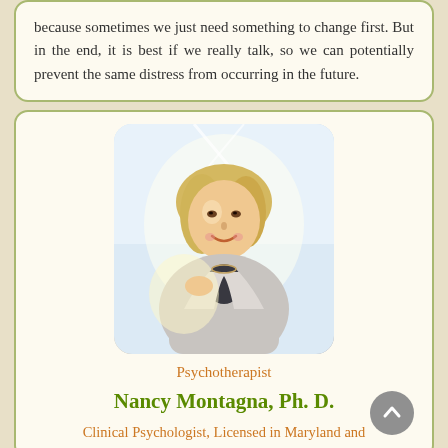because sometimes we just need something to change first. But in the end, it is best if we really talk, so we can potentially prevent the same distress from occurring in the future.
[Figure (photo): Portrait photo of a smiling blonde woman (Nancy Montagna, Ph. D.) with shoulder-length hair, wearing a light-colored vest/jacket, photographed outdoors in bright light]
Psychotherapist
Nancy Montagna, Ph. D.
Clinical Psychologist, Licensed in Maryland and